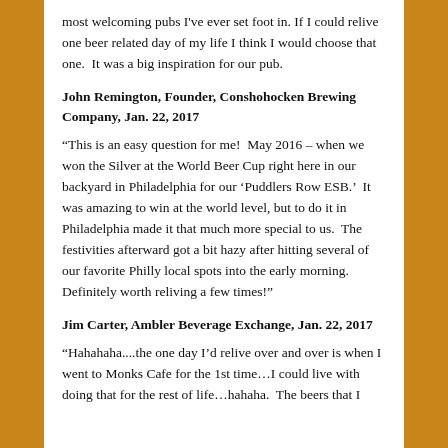most welcoming pubs I've ever set foot in. If I could relive one beer related day of my life I think I would choose that one.  It was a big inspiration for our pub.
John Remington, Founder, Conshohocken Brewing Company, Jan. 22, 2017
“This is an easy question for me!  May 2016 – when we won the Silver at the World Beer Cup right here in our backyard in Philadelphia for our ‘Puddlers Row ESB.’  It was amazing to win at the world level, but to do it in Philadelphia made it that much more special to us.  The festivities afterward got a bit hazy after hitting several of our favorite Philly local spots into the early morning.  Definitely worth reliving a few times!”
Jim Carter, Ambler Beverage Exchange, Jan. 22, 2017
“Hahahaha....the one day I’d relive over and over is when I went to Monks Cafe for the 1st time…I could live with doing that for the rest of life…hahaha.  The beers that I